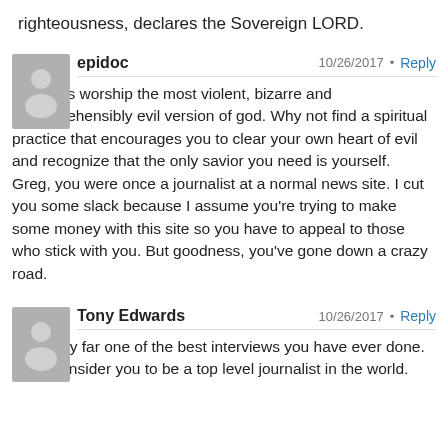righteousness, declares the Sovereign LORD.
epidoc
10/26/2017 · Reply
You guys worship the most violent, bizarre and incomprehensibly evil version of god. Why not find a spiritual practice that encourages you to clear your own heart of evil and recognize that the only savior you need is yourself.
Greg, you were once a journalist at a normal news site. I cut you some slack because I assume you're trying to make some money with this site so you have to appeal to those who stick with you. But goodness, you've gone down a crazy road.
Tony Edwards
10/26/2017 · Reply
This is by far one of the best interviews you have ever done. And I consider you to be a top level journalist in the world.